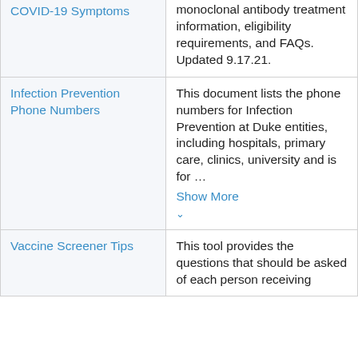| Resource | Description |
| --- | --- |
| COVID-19 Symptoms | monoclonal antibody treatment information, eligibility requirements, and FAQs. Updated 9.17.21. |
| Infection Prevention Phone Numbers | This document lists the phone numbers for Infection Prevention at Duke entities, including hospitals, primary care, clinics, university and is for … Show More |
| Vaccine Screener Tips | This tool provides the questions that should be asked of each person receiving |